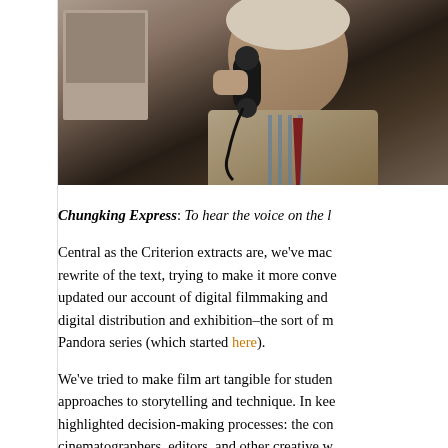[Figure (photo): A young man holding a telephone receiver to his ear, looking downward. He appears to be in a public setting. A poster or image is visible in the background.]
Chungking Express: To hear the voice on the l…
Central as the Criterion extracts are, we've mad… rewrite of the text, trying to make it more conve… updated our account of digital filmmaking and … digital distribution and exhibition–the sort of m… Pandora series (which started here).
We've tried to make film art tangible for studen… approaches to storytelling and technique. In kee… highlighted decision-making processes: the con… cinematographers, editors, and other creative w… since the beginning has been its effort to blend…